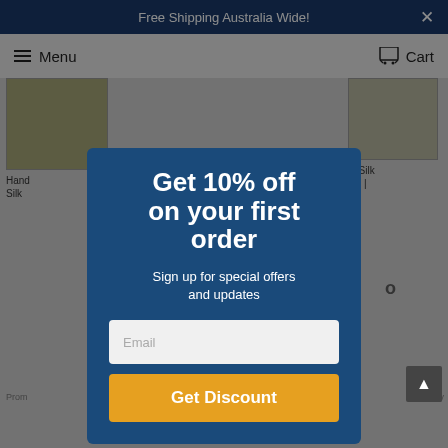Free Shipping Australia Wide!
Menu   Cart
[Figure (screenshot): Background e-commerce page showing product cards (Silk rugs) partially visible behind a modal overlay]
Get 10% off on your first order
Sign up for special offers and updates
Email
Get Discount